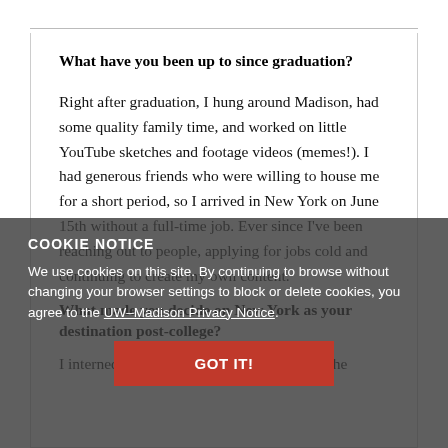What have you been up to since graduation?
Right after graduation, I hung around Madison, had some quality family time, and worked on little YouTube sketches and footage videos (memes!). I had generous friends who were willing to house me for a short period, so I arrived in New York on June 15th without a full-time job. Ever since I've been reaching out to people, applying for jobs cold and continuing to create my own content.
What made you decide on New York as your destination post-college?
I interned with The Daily Show as well as The
COOKIE NOTICE
We use cookies on this site. By continuing to browse without changing your browser settings to block or delete cookies, you agree to the UW–Madison Privacy Notice.
GOT IT!